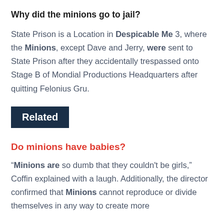Why did the minions go to jail?
State Prison is a Location in Despicable Me 3, where the Minions, except Dave and Jerry, were sent to State Prison after they accidentally trespassed onto Stage B of Mondial Productions Headquarters after quitting Felonius Gru.
Related
Do minions have babies?
“Minions are so dumb that they couldn’t be girls,” Coffin explained with a laugh. Additionally, the director confirmed that Minions cannot reproduce or divide themselves in any way to create more